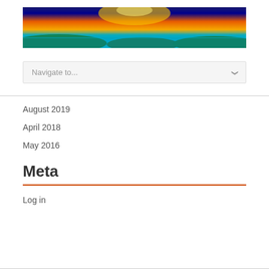[Figure (photo): Panoramic landscape photo with a vivid orange and yellow sunset sky above a blue ocean with green tropical islands or hills in the foreground]
Navigate to...
August 2019
April 2018
May 2016
Meta
Log in